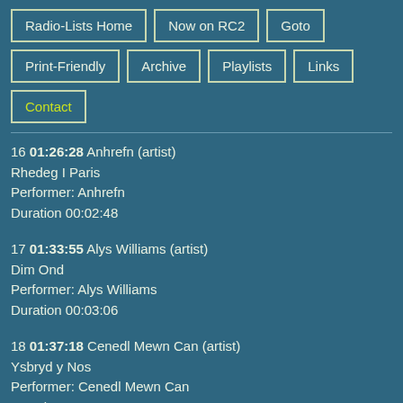Radio-Lists Home
Now on RC2
Goto
Print-Friendly
Archive
Playlists
Links
Contact
16 01:26:28 Anhrefn (artist)
Rhedeg I Paris
Performer: Anhrefn
Duration 00:02:48
17 01:33:55 Alys Williams (artist)
Dim Ond
Performer: Alys Williams
Duration 00:03:06
18 01:37:18 Cenedl Mewn Can (artist)
Ysbryd y Nos
Performer: Cenedl Mewn Can
Duration 00:03:55